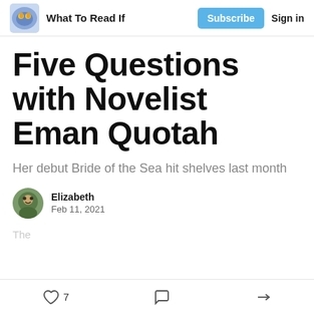What To Read If  Subscribe  Sign in
Five Questions with Novelist Eman Quotah
Her debut Bride of the Sea hit shelves last month
Elizabeth
Feb 11, 2021
7  [comment]  [share]